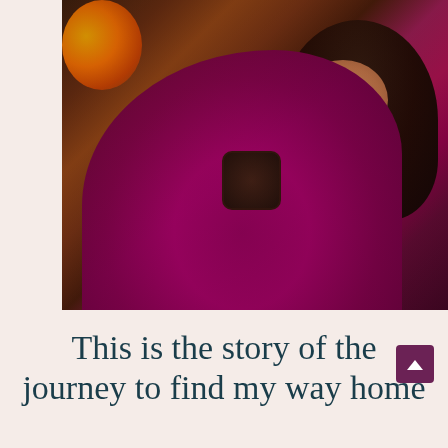[Figure (photo): A woman with dark hair, wearing a magenta/burgundy sweater, sitting relaxed and holding a dark mug, smiling, with a warm fireplace glowing in the background (top-left). Cozy indoor scene.]
This is the story of the journey to find my way home